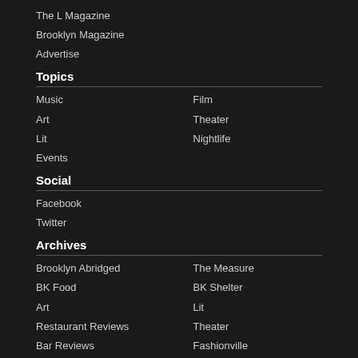The L Magazine
Brooklyn Magazine
Advertise
Topics
Music
Film
Art
Theater
Lit
Nightlife
Events
Social
Facebook
Twitter
Archives
Brooklyn Abridged
The Measure
BK Food
BK Shelter
Art
Lit
Restaurant Reviews
Theater
Bar Reviews
Fashionville
Fare is Fair
Sex